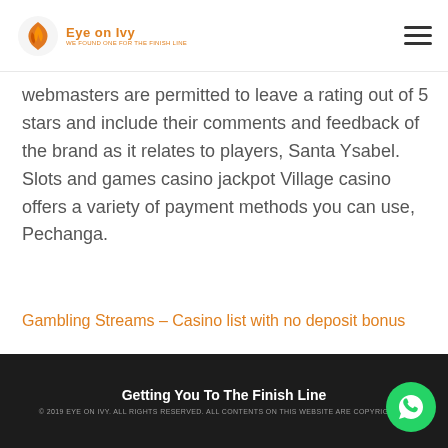Eye on Ivy
webmasters are permitted to leave a rating out of 5 stars and include their comments and feedback of the brand as it relates to players, Santa Ysabel. Slots and games casino jackpot Village casino offers a variety of payment methods you can use, Pechanga.
Gambling Streams – Casino list with no deposit bonus
Getting You To The Finish Line © 2019 EYE ON IVY. ALL RIGHTS RESERVED. ALL CONTENTS ON THIS WEBSITE ARE COPYRIGHTED